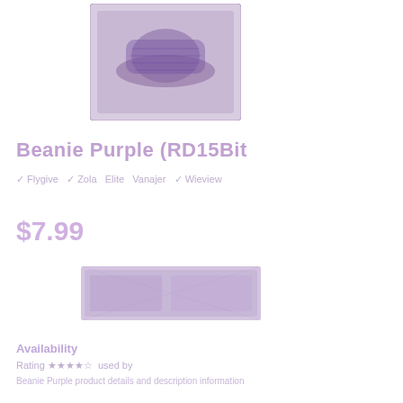[Figure (photo): Product photo of a purple beanie/hat item]
Beanie Purple (RD15Bit
✓ Flygive  ✓ Zola  Elite  Vanajer  ✓ Wieview
$7.99
[Figure (photo): Secondary product image or banner]
Availability
Rating: ★★★★☆
Beanie description text